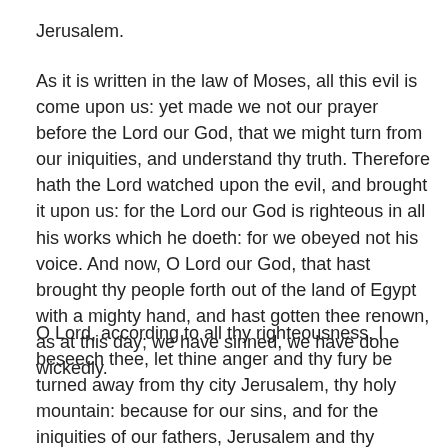Jerusalem.
As it is written in the law of Moses, all this evil is come upon us: yet made we not our prayer before the Lord our God, that we might turn from our iniquities, and understand thy truth. Therefore hath the Lord watched upon the evil, and brought it upon us: for the Lord our God is righteous in all his works which he doeth: for we obeyed not his voice. And now, O Lord our God, that hast brought thy people forth out of the land of Egypt with a mighty hand, and hast gotten thee renown, as at this day; we have sinned, we have done wickedly.
O Lord, according to all thy righteousness, I beseech thee, let thine anger and thy fury be turned away from thy city Jerusalem, thy holy mountain: because for our sins, and for the iniquities of our fathers, Jerusalem and thy people are become a reproach to all that are about us. Now